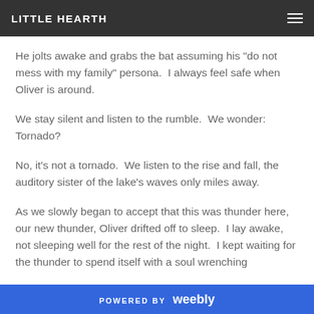LITTLE HEARTH
He jolts awake and grabs the bat assuming his "do not mess with my family" persona.  I always feel safe when Oliver is around.
We stay silent and listen to the rumble.  We wonder: Tornado?
No, it's not a tornado.  We listen to the rise and fall, the auditory sister of the lake's waves only miles away.
As we slowly began to accept that this was thunder here, our new thunder, Oliver drifted off to sleep.  I lay awake, not sleeping well for the rest of the night.  I kept waiting for the thunder to spend itself with a soul wrenching
POWERED BY weebly